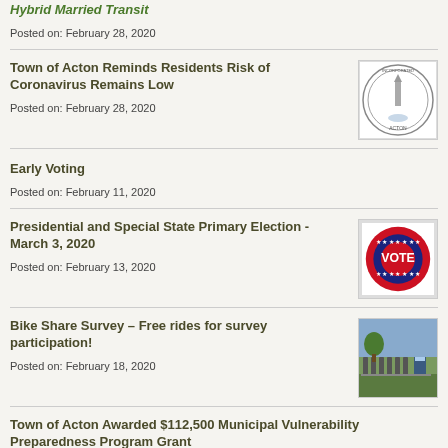Hybrid Married Transit
Posted on: February 28, 2020
Town of Acton Reminds Residents Risk of Coronavirus Remains Low
Posted on: February 28, 2020
[Figure (logo): Town of Acton seal/logo with monument]
Early Voting
Posted on: February 11, 2020
Presidential and Special State Primary Election - March 3, 2020
Posted on: February 13, 2020
[Figure (illustration): Red, white and blue VOTE button badge]
Bike Share Survey – Free rides for survey participation!
Posted on: February 18, 2020
[Figure (photo): Row of bicycles at a bike share station outdoors]
Town of Acton Awarded $112,500 Municipal Vulnerability Preparedness Program Grant
Posted on: February 7, 2020